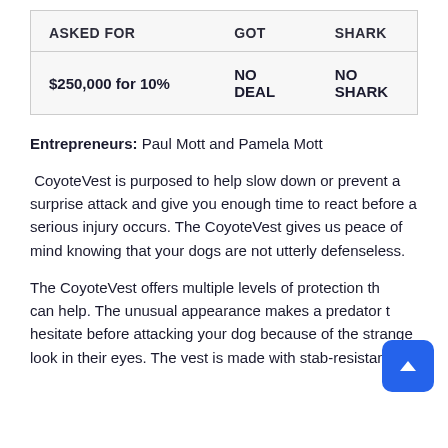| ASKED FOR | GOT | SHARK |
| --- | --- | --- |
| $250,000 for 10% | NO DEAL | NO SHARK |
Entrepreneurs: Paul Mott and Pamela Mott
CoyoteVest is purposed to help slow down or prevent a surprise attack and give you enough time to react before a serious injury occurs. The CoyoteVest gives us peace of mind knowing that your dogs are not utterly defenseless.
The CoyoteVest offers multiple levels of protection that can help. The unusual appearance makes a predator to hesitate before attacking your dog because of the strange look in their eyes. The vest is made with stab-resistant